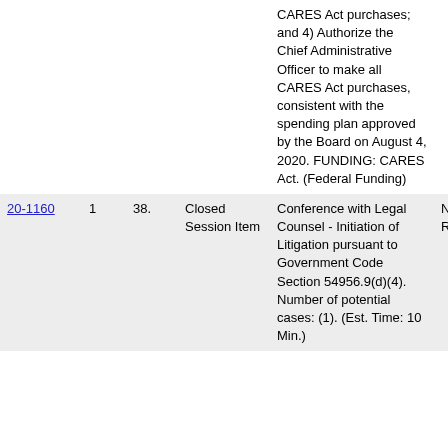| ID |  |  | Type | Description | Action |
| --- | --- | --- | --- | --- | --- |
|  |  |  |  | CARES Act purchases; and 4) Authorize the Chief Administrative Officer to make all CARES Act purchases, consistent with the spending plan approved by the Board on August 4, 2020. FUNDING: CARES Act. (Federal Funding) |  |
| 20-1160 | 1 | 38. | Closed Session Item | Conference with Legal Counsel - Initiation of Litigation pursuant to Government Code Section 54956.9(d)(4). Number of potential cases: (1). (Est. Time: 10 Min.) | No Action Reported. |